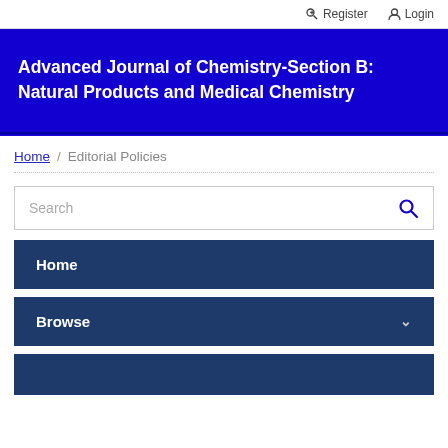Register  Login
Advanced Journal of Chemistry-Section B: Natural Products and Medical Chemistry
Home / Editorial Policies
Search
Home
Browse